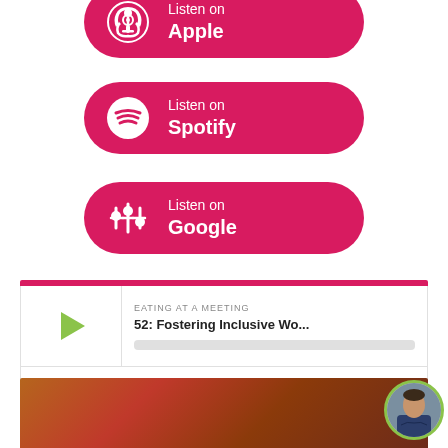[Figure (illustration): Pink pill-shaped button with Apple Podcasts icon and text 'Listen on Apple']
[Figure (illustration): Pink pill-shaped button with Spotify icon and text 'Listen on Spotify']
[Figure (illustration): Pink pill-shaped button with Google Podcasts icon and text 'Listen on Google']
[Figure (screenshot): Podcast player widget showing episode '52: Fostering Inclusive Wo...' from EATING AT A MEETING, with play button, time 00:00:00, and control icons]
[Figure (photo): Blurred warm-toned image of people at a meeting/dining table]
[Figure (photo): Circular avatar photo of a woman in a blazer with arms crossed, with green border]